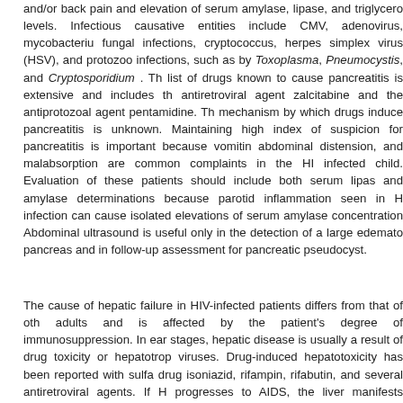and/or back pain and elevation of serum amylase, lipase, and triglyceride levels. Infectious causative entities include CMV, adenovirus, mycobacterium, fungal infections, cryptococcus, herpes simplex virus (HSV), and protozoal infections, such as by Toxoplasma, Pneumocystis, and Cryptosporidium . The list of drugs known to cause pancreatitis is extensive and includes the antiretroviral agent zalcitabine and the antiprotozoal agent pentamidine. The mechanism by which drugs induce pancreatitis is unknown. Maintaining a high index of suspicion for pancreatitis is important because vomiting, abdominal distension, and malabsorption are common complaints in the HIV-infected child. Evaluation of these patients should include both serum lipase and amylase determinations because parotid inflammation seen in HIV infection can cause isolated elevations of serum amylase concentrations. Abdominal ultrasound is useful only in the detection of a large edematous pancreas and in follow-up assessment for pancreatic pseudocyst.
The cause of hepatic failure in HIV-infected patients differs from that of other adults and is affected by the patient's degree of immunosuppression. In early stages, hepatic disease is usually a result of drug toxicity or hepatotropic viruses. Drug-induced hepatotoxicity has been reported with sulfa drugs, isoniazid, rifampin, rifabutin, and several antiretroviral agents. If HIV progresses to AIDS, the liver manifests systemic involvement of opportunistic infections. , Reviews of hepatic tissue disease in HIV-infected children document that CMV and mycobacterial disease are common in children